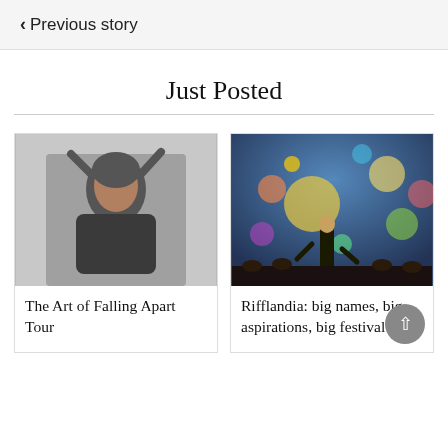< Previous story
Just Posted
[Figure (photo): Young woman in black leather jacket with hands in hair, looking upward, white background]
The Art of Falling Apart Tour
[Figure (photo): Concert performer on stage with colorful balloons floating overhead, crowd in background]
Rifflandia: big names, big aspirations, big festival feel